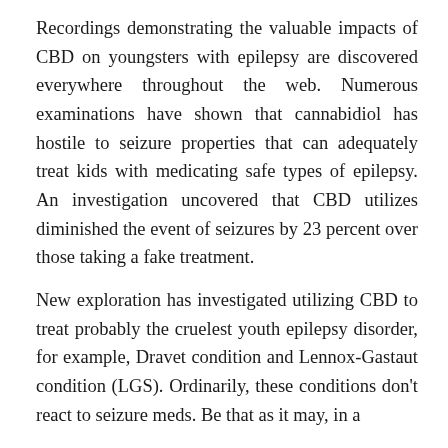Recordings demonstrating the valuable impacts of CBD on youngsters with epilepsy are discovered everywhere throughout the web. Numerous examinations have shown that cannabidiol has hostile to seizure properties that can adequately treat kids with medicating safe types of epilepsy. An investigation uncovered that CBD utilizes diminished the event of seizures by 23 percent over those taking a fake treatment.
New exploration has investigated utilizing CBD to treat probably the cruelest youth epilepsy disorder, for example, Dravet condition and Lennox-Gastaut condition (LGS). Ordinarily, these conditions don't react to seizure meds. Be that as it may, in a